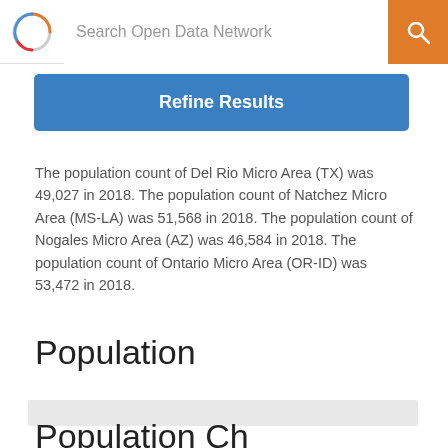Search Open Data Network
The population count of Del Rio Micro Area (TX) was 49,027 in 2018. The population count of Natchez Micro Area (MS-LA) was 51,568 in 2018. The population count of Nogales Micro Area (AZ) was 46,584 in 2018. The population count of Ontario Micro Area (OR-ID) was 53,472 in 2018.
Population
Population Ch…